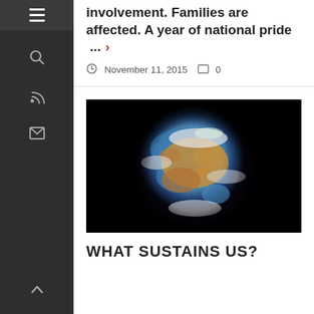involvement. Families are affected. A year of national pride ... ›
November 11, 2015  0
[Figure (photo): A globe/planet Earth viewed from space with a dark black background, showing blue oceans and brownish/orange landmasses with white clouds.]
WHAT SUSTAINS US?